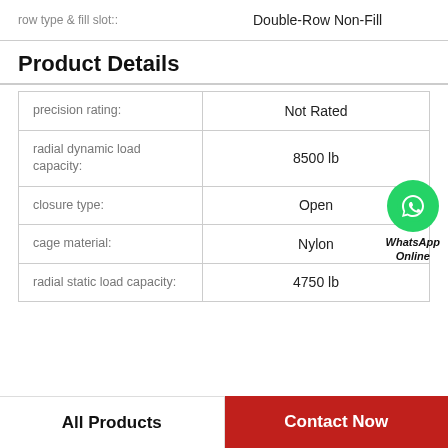| property | value |
| --- | --- |
| row type & fill slot:: | Double-Row Non-Fill |
| precision rating: | Not Rated |
| radial dynamic load capacity: | 8500 lb |
| closure type: | Open |
| cage material: | Nylon |
| radial static load capacity: | 4750 lb |
Product Details
[Figure (logo): WhatsApp Online green phone icon with WhatsApp Online label]
All Products
Contact Now